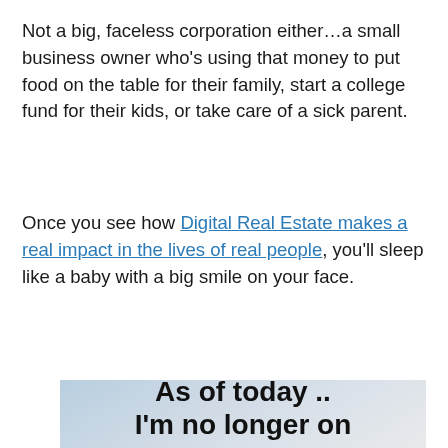Not a big, faceless corporation either…a small business owner who's using that money to put food on the table for their family, start a college fund for their kids, or take care of a sick parent.
Once you see how Digital Real Estate makes a real impact in the lives of real people, you'll sleep like a baby with a big smile on your face.
[Figure (screenshot): A social media post screenshot showing user 'Greg [redacted] ▶ BAM' with a green online indicator, posted 16 minutes ago. Below is a preview card with a gradient blue-grey background showing the beginning of text 'As of today .. I'm no longer on']